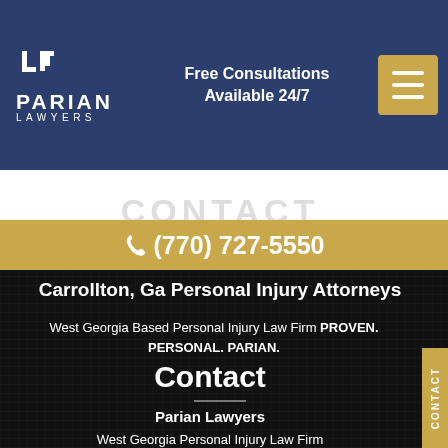[Figure (logo): Parian Lawyers logo with LP monogram in white on navy background]
Free Consultations Available 24/7
(770) 727-5550
Carrollton, Ga Personal Injury Attorneys
West Georgia Based Personal Injury Law Firm PROVEN. PERSONAL. PARIAN.
Contact
Parian Lawyers
West Georgia Personal Injury Law Firm